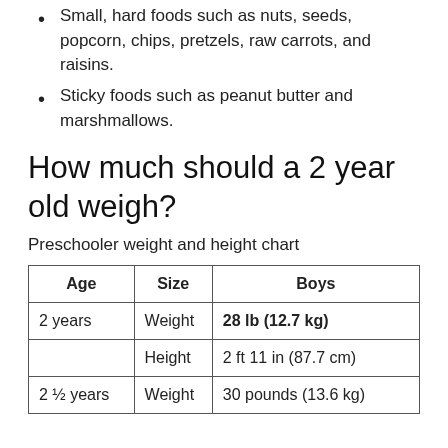Small, hard foods such as nuts, seeds, popcorn, chips, pretzels, raw carrots, and raisins.
Sticky foods such as peanut butter and marshmallows.
How much should a 2 year old weigh?
Preschooler weight and height chart
| Age | Size | Boys |
| --- | --- | --- |
| 2 years | Weight | 28 lb (12.7 kg) |
|  | Height | 2 ft 11 in (87.7 cm) |
| 2 ½ years | Weight | 30 pounds (13.6 kg) |